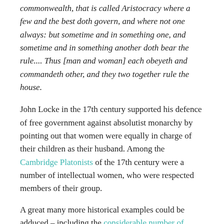commonwealth, that is called Aristocracy where a few and the best doth govern, and where not one always: but sometime and in something one, and sometime and in something another doth bear the rule.... Thus [man and woman] each obeyeth and commandeth other, and they two together rule the house.
John Locke in the 17th century supported his defence of free government against absolutist monarchy by pointing out that women were equally in charge of their children as their husband. Among the Cambridge Platonists of the 17th century were a number of intellectual women, who were respected members of their group.
A great many more historical examples could be adduced – including the considerable number of popular female writers through history – as to why the feminist narrative is pure drivel. Apart from